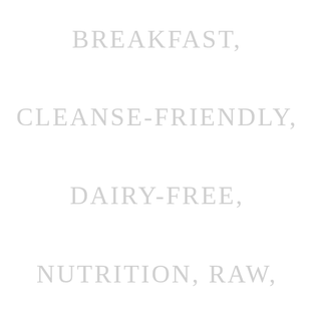JUNE 8, 2018 BEVERAGES, BREAKFAST, CLEANSE-FRIENDLY, DAIRY-FREE, NUTRITION, RAW, RECIPES, SUGAR-FREE, VEGAN